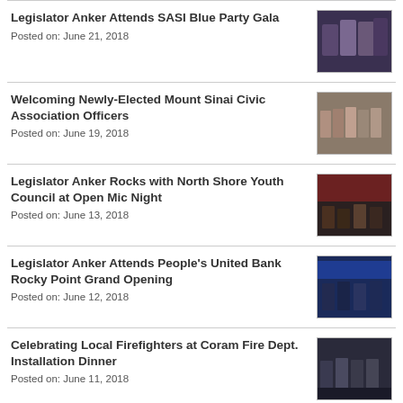Legislator Anker Attends SASI Blue Party Gala
Posted on: June 21, 2018
Welcoming Newly-Elected Mount Sinai Civic Association Officers
Posted on: June 19, 2018
Legislator Anker Rocks with North Shore Youth Council at Open Mic Night
Posted on: June 13, 2018
Legislator Anker Attends People's United Bank Rocky Point Grand Opening
Posted on: June 12, 2018
Celebrating Local Firefighters at Coram Fire Dept. Installation Dinner
Posted on: June 11, 2018